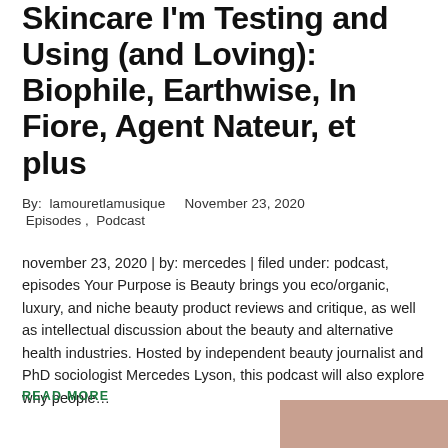Skincare I'm Testing and Using (and Loving): Biophile, Earthwise, In Fiore, Agent Nateur, et plus
By: lamouretlamusique   November 23, 2020
 Episodes ,  Podcast
november 23, 2020 | by: mercedes | filed under: podcast, episodes Your Purpose is Beauty brings you eco/organic, luxury, and niche beauty product reviews and critique, as well as intellectual discussion about the beauty and alternative health industries. Hosted by independent beauty journalist and PhD sociologist Mercedes Lyson, this podcast will also explore why people…
READ MORE
[Figure (photo): Partial image visible at bottom right corner of page]